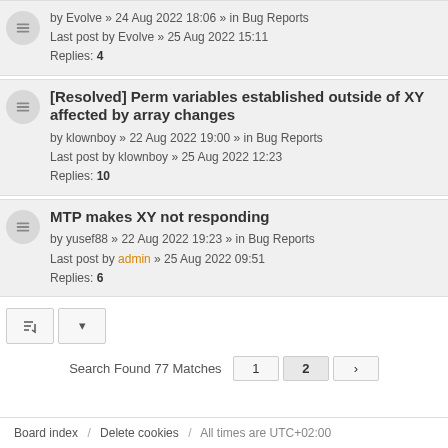by Evolve » 24 Aug 2022 18:06 » in Bug Reports
Last post by Evolve » 25 Aug 2022 15:11
Replies: 4
[Resolved] Perm variables established outside of XY affected by array changes
by klownboy » 22 Aug 2022 19:00 » in Bug Reports
Last post by klownboy » 25 Aug 2022 12:23
Replies: 10
MTP makes XY not responding
by yusef88 » 22 Aug 2022 19:23 » in Bug Reports
Last post by admin » 25 Aug 2022 09:51
Replies: 6
Search Found 77 Matches  1  2  >
Board index  /  Delete cookies  /  All times are UTC+02:00